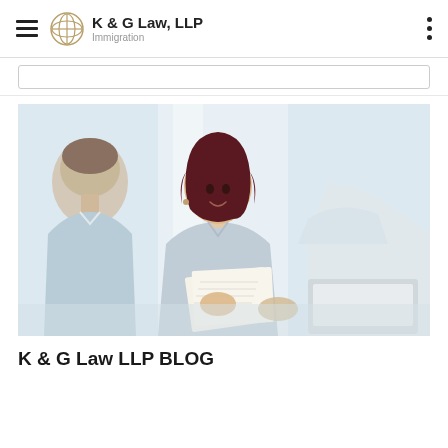K & G Law, LLP — Immigration
[Figure (photo): Three people in a professional meeting setting: a woman with dark red hair in a light blue blouse at center looking at someone to her left, a man on the left in a light blue shirt reviewing papers, and a third person on the right in a white shirt. Documents and a laptop are on the table.]
K & G Law LLP BLOG